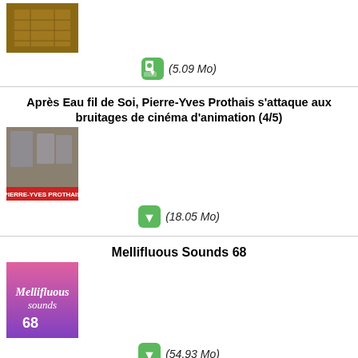[Figure (photo): Thumbnail of a wooden floor/parquet image]
(5.09 Mo)
Après Eau fil de Soi, Pierre-Yves Prothais s'attaque aux bruitages de cinéma d'animation (4/5)
[Figure (photo): Thumbnail with graffiti wall and text PIERRE-YVES PROTHAIS]
(18.05 Mo)
Mellifluous Sounds 68
[Figure (photo): Thumbnail with pink/purple background and Mellifluous Sounds 68 text]
(54.93 Mo)
Somoine dans le mix #7 présente : Les Traversées Sonores
[Figure (photo): Thumbnail with people photo on pink background]